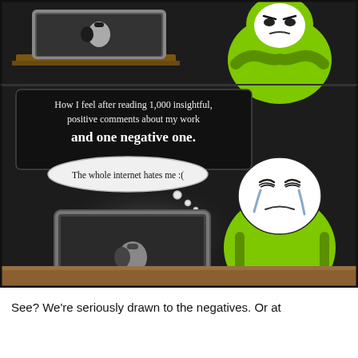[Figure (illustration): Two-panel webcomic. Top panel shows a green cartoon character sitting angrily at a MacBook laptop from behind. Bottom panel shows same character crying while thinking 'The whole internet hates me :(' with a black text box reading 'How I feel after reading 1,000 insightful, positive comments about my work and one negative one.']
See? We're seriously drawn to the negatives. Or at